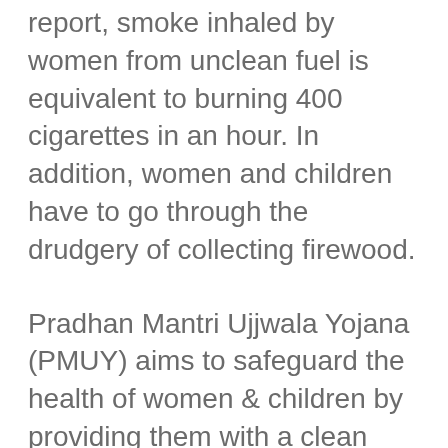report, smoke inhaled by women from unclean fuel is equivalent to burning 400 cigarettes in an hour. In addition, women and children have to go through the drudgery of collecting firewood.
Pradhan Mantri Ujjwala Yojana (PMUY) aims to safeguard the health of women & children by providing them with a clean cooking fuel – LPG, so that they don't have to compromise their health in smoky kitchens or wander in unsafe areas collecting firewood.